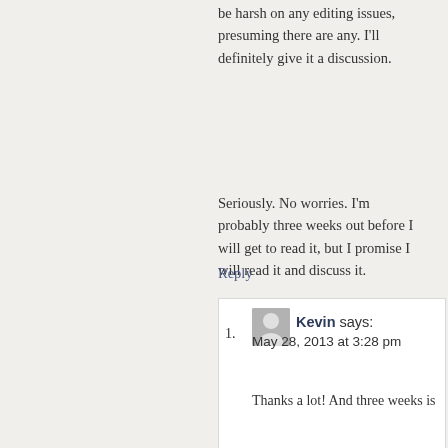be harsh on any editing issues, presuming there are any. I'll definitely give it a discussion.
Seriously. No worries. I'm probably three weeks out before I will get to read it, but I promise I will read it and discuss it.
Reply
Kevin says: May 28, 2013 at 3:28 pm
Thanks a lot! And three weeks is